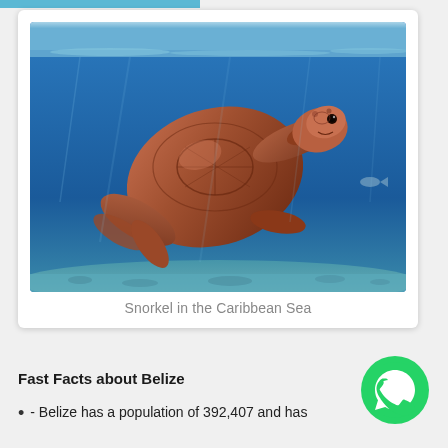[Figure (photo): Underwater photo of a sea turtle swimming in blue Caribbean Sea water above a sandy/rocky seafloor.]
Snorkel in the Caribbean Sea
Fast Facts about Belize
[Figure (logo): WhatsApp green circular logo button]
- Belize has a population of 392,407 and has